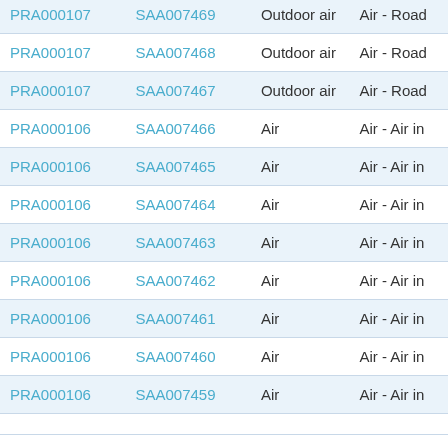| Project | Sample | Medium | Type |
| --- | --- | --- | --- |
| PRA000107 | SAA007469 | Outdoor air | Air - Road |
| PRA000107 | SAA007468 | Outdoor air | Air - Road |
| PRA000107 | SAA007467 | Outdoor air | Air - Road |
| PRA000106 | SAA007466 | Air | Air - Air in |
| PRA000106 | SAA007465 | Air | Air - Air in |
| PRA000106 | SAA007464 | Air | Air - Air in |
| PRA000106 | SAA007463 | Air | Air - Air in |
| PRA000106 | SAA007462 | Air | Air - Air in |
| PRA000106 | SAA007461 | Air | Air - Air in |
| PRA000106 | SAA007460 | Air | Air - Air in |
| PRA000106 | SAA007459 | Air | Air - Air in |